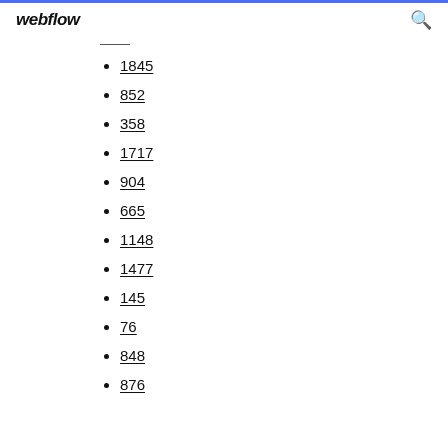webflow
1845
852
358
1717
904
665
1148
1477
145
76
848
876